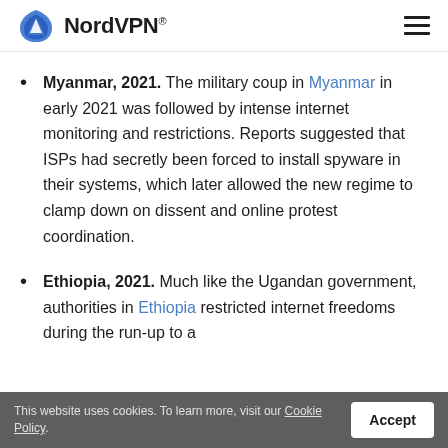NordVPN®
Myanmar, 2021. The military coup in Myanmar in early 2021 was followed by intense internet monitoring and restrictions. Reports suggested that ISPs had secretly been forced to install spyware in their systems, which later allowed the new regime to clamp down on dissent and online protest coordination.
Ethiopia, 2021. Much like the Ugandan government, authorities in Ethiopia restricted internet freedoms during the run-up to a…
This website uses cookies. To learn more, visit our Cookie Policy.